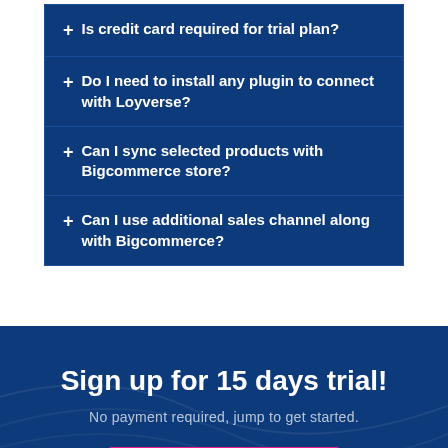+ Is credit card required for trial plan?
+ Do I need to install any plugin to connect with Loyverse?
+ Can I sync selected products with Bigcommerce store?
+ Can I use additional sales channel along with Bigcommerce?
Sign up for 15 days trial!
No payment required, jump to get started.